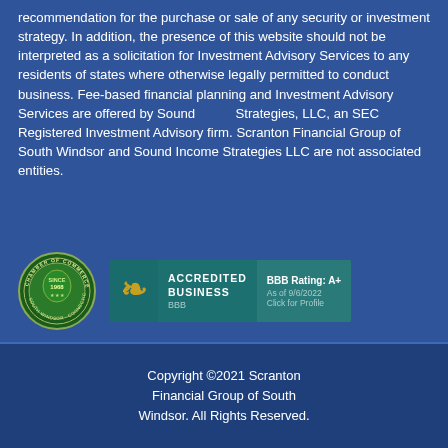recommendation for the purchase or sale of any security or investment strategy. In addition, the presence of this website should not be interpreted as a solicitation for Investment Advisory Services to any residents of states where otherwise legally permitted to conduct business. Fee-based financial planning and Investment Advisory Services are offered by Sound Income Strategies, LLC, an SEC Registered Investment Advisory firm. Scranton Financial Group of South Windsor and Sound Income Strategies LLC are not associated entities.
[Figure (logo): Chamber of Commerce seal logo (circular green and white seal) and BBB Accredited Business badge with BBB Rating: A+ as of 9/6/2022, Click for Profile]
Copyright ©2021 Scranton Financial Group of South Windsor. All Rights Reserved.